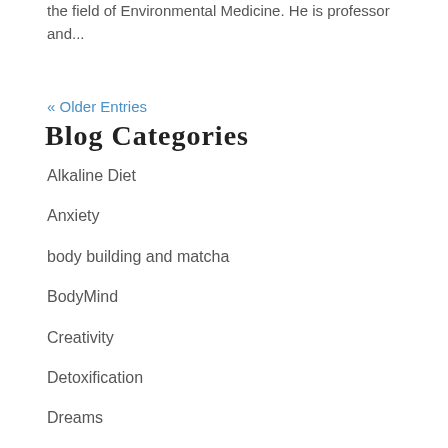the field of Environmental Medicine. He is professor and...
« Older Entries
Blog Categories
Alkaline Diet
Anxiety
body building and matcha
BodyMind
Creativity
Detoxification
Dreams
Green tea powder
Homeopathy